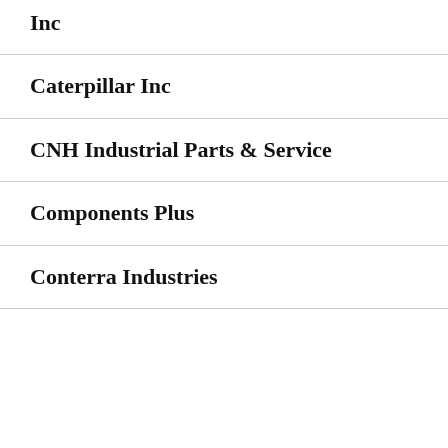Inc
Caterpillar Inc
CNH Industrial Parts & Service
Components Plus
Conterra Industries